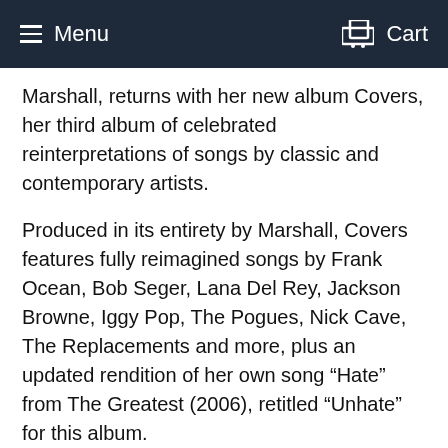Menu   Cart
Marshall, returns with her new album Covers, her third album of celebrated reinterpretations of songs by classic and contemporary artists.
Produced in its entirety by Marshall, Covers features fully reimagined songs by Frank Ocean, Bob Seger, Lana Del Rey, Jackson Browne, Iggy Pop, The Pogues, Nick Cave, The Replacements and more, plus an updated rendition of her own song “Hate” from The Greatest (2006), retitled “Unhate” for this album.
Covers is the first album from Cat Power since Wanderer, her widely-acclaimed 2018 Domino debut, which earned rave reviews and features with the New York Times, The Guardian, The Cut, a NPR Tiny Desk, and a duet with Lana Del Rey on "Woman," which The New Yorker called a "trembling manifesto." Marshall's work as Cat Power has defied genre and convention, her legacy rippling through the work of a wide range of contemporary musical